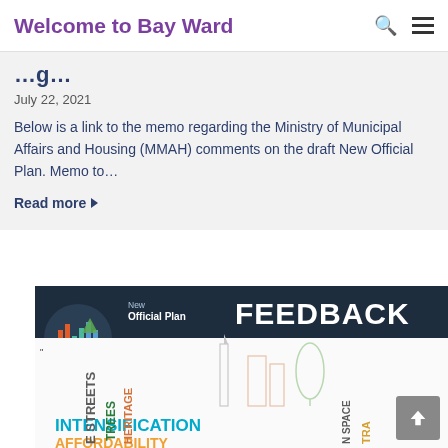Welcome to Bay Ward
…g…
July 22, 2021
Below is a link to the memo regarding the Ministry of Municipal Affairs and Housing (MMAH) comments on the draft New Official Plan. Memo to…
Read more
[Figure (infographic): New Official Plan Feedback infographic showing the words: STREETS, TREES, HERITAGE, INTENSIFICATION, AFFORDABILITY, OPEN SPACE, TRANSPORTATION in various colors and orientations, with outline building/tree silhouettes. Includes New Official Plan logo with colorful bar chart icon.]